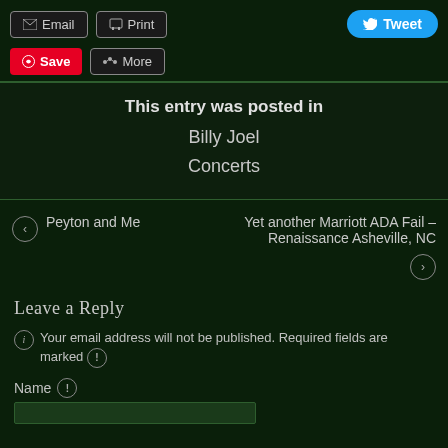[Figure (screenshot): Social sharing buttons: Email, Print, Tweet, Save, More]
This entry was posted in
Billy Joel
Concerts
← Peyton and Me
Yet another Marriott ADA Fail – Renaissance Asheville, NC →
Leave a Reply
Your email address will not be published. Required fields are marked
Name